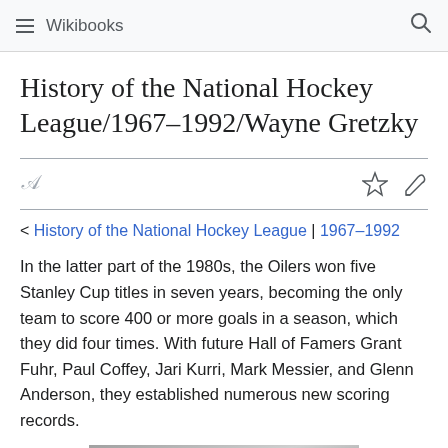Wikibooks
History of the National Hockey League/1967–1992/Wayne Gretzky
< History of the National Hockey League | 1967–1992
In the latter part of the 1980s, the Oilers won five Stanley Cup titles in seven years, becoming the only team to score 400 or more goals in a season, which they did four times. With future Hall of Famers Grant Fuhr, Paul Coffey, Jari Kurri, Mark Messier, and Glenn Anderson, they established numerous new scoring records.
[Figure (photo): Bottom portion of a photograph, partially visible at the bottom of the page]